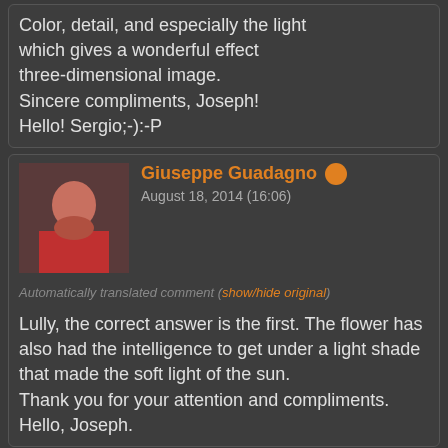Color, detail, and especially the light which gives a wonderful effect three-dimensional image.
Sincere compliments, Joseph!
Hello! Sergio;-):-P
Giuseppe Guadagno
August 18, 2014 (16:06)
Automatically translated comment (show/hide original)
Lully, the correct answer is the first. The flower has also had the intelligence to get under a light shade that made the soft light of the sun.
Thank you for your attention and compliments.
Hello, Joseph.
Roberto1977
August 18, 2014 (19:36)
Automatically translated comment (show/hide original)
What gorgeous colors !!!
Fausto Panzeri
August 18, 2014 (20:00)